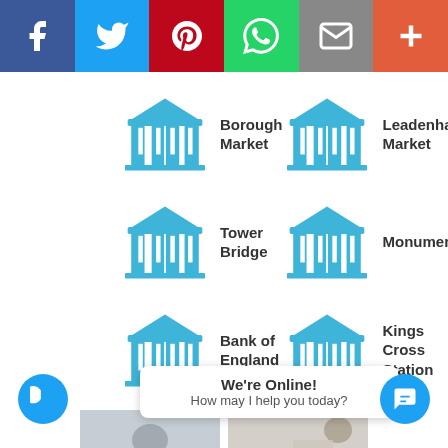[Figure (infographic): Social share bar with Facebook, Twitter, Pinterest, WhatsApp, Email, and More buttons]
Borough Market
Leadenhall Market
Tower Bridge
Monument
Bank of England
Kings Cross Station
[Figure (photo): Photo of London skyline with river Thames and boats]
[Figure (photo): Photo of London landmark with illustrated character overlay]
We're Online! How may I help you today?